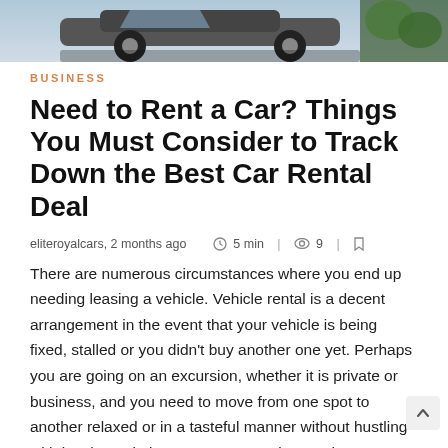[Figure (photo): Hero image of a car/vehicle partially visible, outdoors setting with greenery]
BUSINESS
Need to Rent a Car? Things You Must Consider to Track Down the Best Car Rental Deal
eliteroyalcars, 2 months ago   5 min  |   9  |
There are numerous circumstances where you end up needing leasing a vehicle. Vehicle rental is a decent arrangement in the event that your vehicle is being fixed, stalled or you didn't buy another one yet. Perhaps you are going on an excursion, whether it is private or business, and you need to move from one spot to another relaxed or in a tasteful manner without hustling with local people in open transportation. Perhaps you need to go with your family out traveling, whether it is homegrown or abroad. You might try